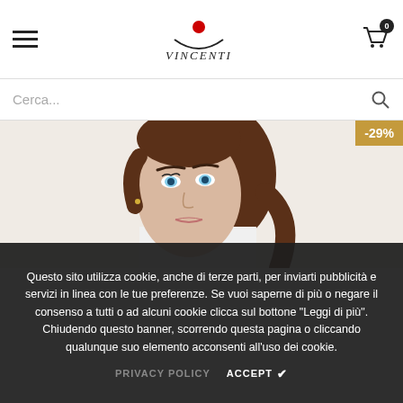Vincenti - navigation header with hamburger menu, logo, and cart icon showing 0 items
Cerca...
[Figure (photo): Young woman with brown hair in a ponytail, light skin, blue eyes, wearing a white top, against a light beige background. Discount badge showing -29% in top right corner.]
Questo sito utilizza cookie, anche di terze parti, per inviarti pubblicità e servizi in linea con le tue preferenze. Se vuoi saperne di più o negare il consenso a tutti o ad alcuni cookie clicca sul bottone "Leggi di più". Chiudendo questo banner, scorrendo questa pagina o cliccando qualunque suo elemento acconsenti all'uso dei cookie.
PRIVACY POLICY   ACCEPT ✔